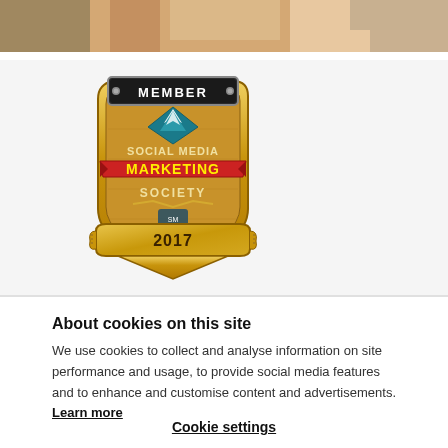[Figure (photo): Top portion of a person photo, cropped at the top of the page]
[Figure (logo): Social Media Marketing Society Member 2017 gold badge/emblem]
About cookies on this site
We use cookies to collect and analyse information on site performance and usage, to provide social media features and to enhance and customise content and advertisements. Learn more
Cookie settings